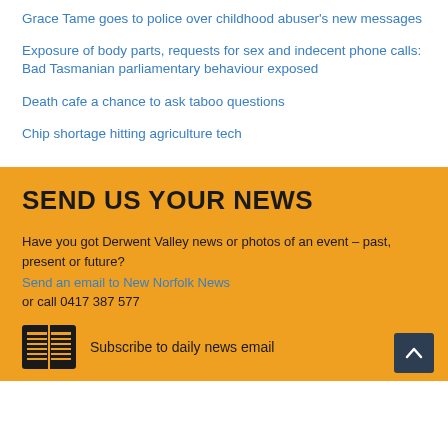Grace Tame goes to police over childhood abuser's new messages
Exposure of body parts, requests for sex and indecent phone calls: Bad Tasmanian parliamentary behaviour exposed
Death cafe a chance to ask taboo questions
Chip shortage hitting agriculture tech
SEND US YOUR NEWS
Have you got Derwent Valley news or photos of an event – past, present or future?
Send an email to New Norfolk News
or call 0417 387 577
Subscribe to daily news email